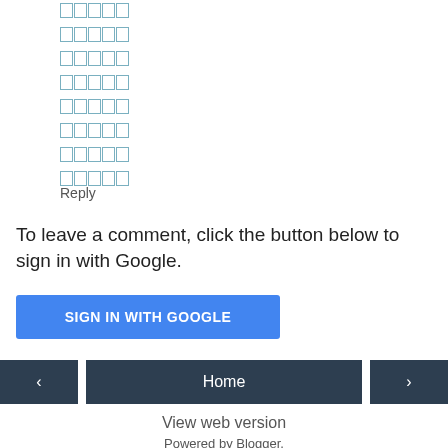□□□□□
□□□□□
□□□□□
□□□□□
□□□□□
□□□□□
□□□□□
□□□□□
Reply
To leave a comment, click the button below to sign in with Google.
SIGN IN WITH GOOGLE
< Home >
View web version
Powered by Blogger.